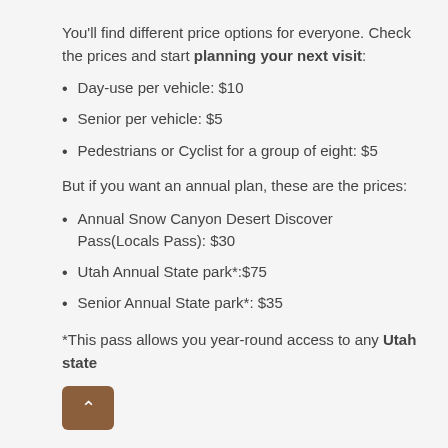You'll find different price options for everyone. Check the prices and start planning your next visit:
Day-use per vehicle: $10
Senior per vehicle: $5
Pedestrians or Cyclist for a group of eight: $5
But if you want an annual plan, these are the prices:
Annual Snow Canyon Desert Discover Pass(Locals Pass): $30
Utah Annual State park*:$75
Senior Annual State park*: $35
*This pass allows you year-round access to any Utah state